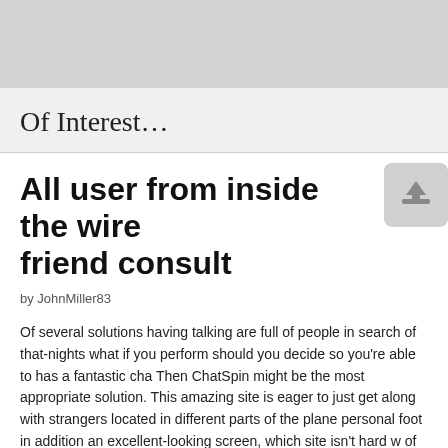Of Interest…
All user from inside the wire friend consult
by JohnMiller83
Of several solutions having talking are full of people in search of that-nights what if you perform should you decide so you're able to has a fantastic cha Then ChatSpin might be the most appropriate solution. This amazing site is eager to just get along with strangers located in different parts of the plane personal foot in addition an excellent-looking screen, which site isn't hard w of except that where you are.